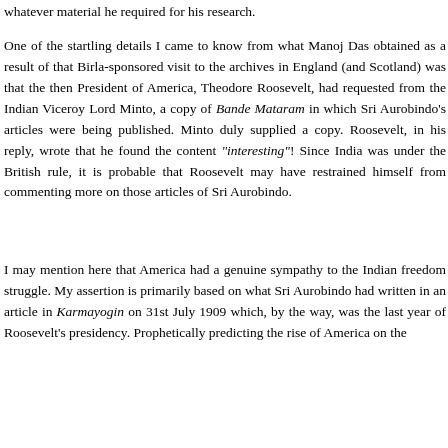whatever material he required for his research.
One of the startling details I came to know from what Manoj Das obtained as a result of that Birla-sponsored visit to the archives in England (and Scotland) was that the then President of America, Theodore Roosevelt, had requested from the Indian Viceroy Lord Minto, a copy of Bande Mataram in which Sri Aurobindo's articles were being published. Minto duly supplied a copy. Roosevelt, in his reply, wrote that he found the content "interesting"! Since India was under the British rule, it is probable that Roosevelt may have restrained himself from commenting more on those articles of Sri Aurobindo.
I may mention here that America had a genuine sympathy to the Indian freedom struggle. My assertion is primarily based on what Sri Aurobindo had written in an article in Karmayogin on 31st July 1909 which, by the way, was the last year of Roosevelt's presidency. Prophetically predicting the rise of America on the